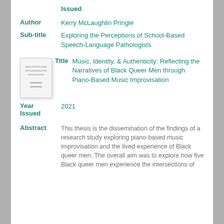Issued
Author: Kerry McLaughlin Pringle
Sub-title: Exploring the Perceptions of School-Based Speech-Language Pathologists
[Figure (illustration): Thumbnail image of a document page]
Title: Music, Identity, & Authenticity: Reflecting the Narratives of Black Queer Men through Piano-Based Music Improvisation
Year Issued: 2021
Abstract: This thesis is the dissemination of the findings of a research study exploring piano-based music improvisation and the lived experience of Black queer men. The overall aim was to explore how five Black queer men experience the intersections of